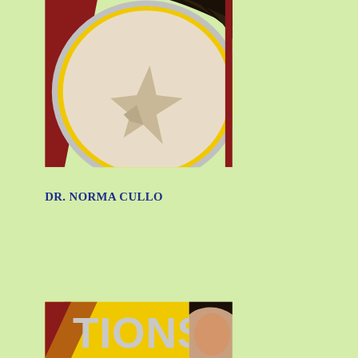[Figure (photo): Close-up photo showing a yellow and red circular design (possibly a clock or plate) with a person's dark hair visible in the upper right corner, on a light green background.]
DR. NORMA CULLO
[Figure (photo): Partial photo showing large text 'TIONS' in silver/white letters on a yellow background with red diagonal stripe, and a person's face partially visible on the right side.]